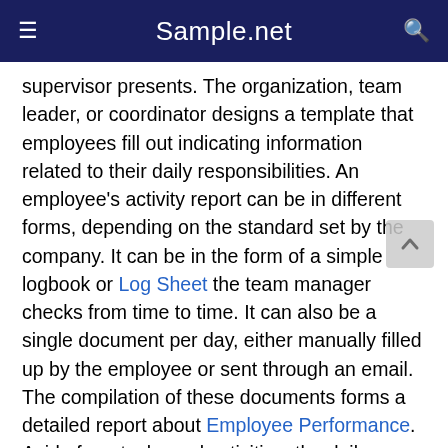Sample.net
supervisor presents. The organization, team leader, or coordinator designs a template that employees fill out indicating information related to their daily responsibilities. An employee's activity report can be in different forms, depending on the standard set by the company. It can be in the form of a simple logbook or Log Sheet the team manager checks from time to time. It can also be a single document per day, either manually filled up by the employee or sent through an email. The compilation of these documents forms a detailed report about Employee Performance. Aside from tasks and activities, the daily activity report may also contain sections that ask about the difficulties an employee faces in a workday. This information is relevant to the team manager for the evaluation period.
According to an article published by Forbes in October